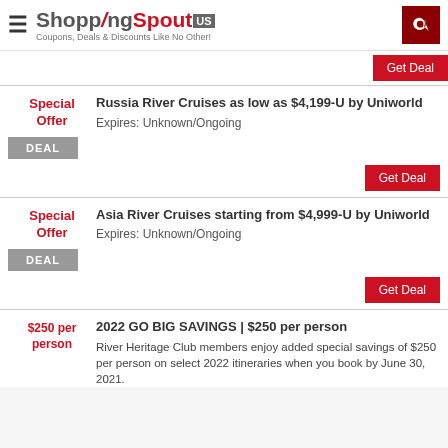ShoppingSpout US — Coupons, Deals & Discounts Like No Other!
Get Deal
Russia River Cruises as low as $4,199-U by Uniworld | Expires: Unknown/Ongoing | Special Offer | DEAL | Get Deal
Asia River Cruises starting from $4,999-U by Uniworld | Expires: Unknown/Ongoing | Special Offer | DEAL | Get Deal
2022 GO BIG SAVINGS | $250 per person — River Heritage Club members enjoy added special savings of $250 per person on select 2022 itineraries when you book by June 30, 2021.